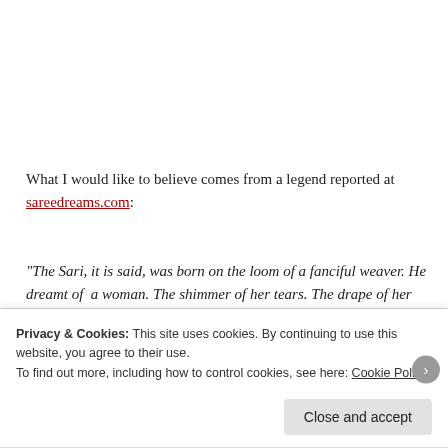What I would like to believe comes from a legend reported at sareedreams.com:
“The Sari, it is said, was born on the loom of a fanciful weaver. He dreamt of  a woman. The shimmer of her tears. The drape of her tumbling hair. The colors of her many moods. The softness of her touch. All these
Privacy & Cookies: This site uses cookies. By continuing to use this website, you agree to their use.
To find out more, including how to control cookies, see here: Cookie Policy
Close and accept